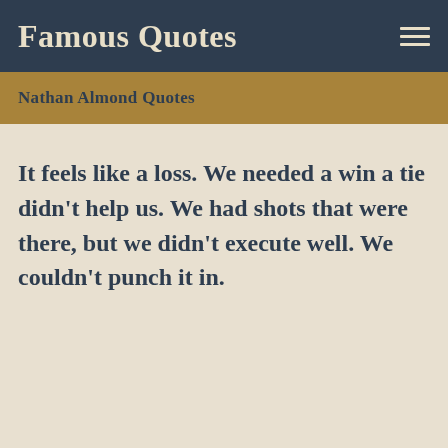Famous Quotes
Nathan Almond Quotes
It feels like a loss. We needed a win a tie didn't help us. We had shots that were there, but we didn't execute well. We couldn't punch it in.